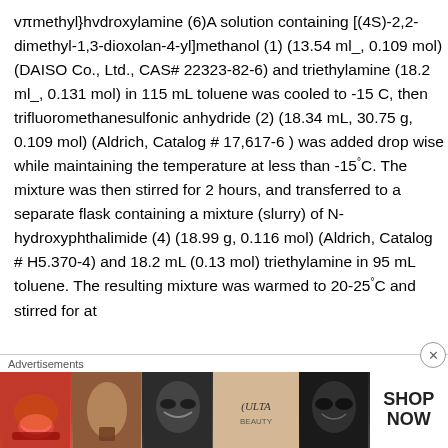vπmethyl}hvdroxylamine (6)A solution containing [(4S)-2,2-dimethyl-1,3-dioxolan-4-yl]methanol (1) (13.54 ml_, 0.109 mol) (DAISO Co., Ltd., CAS# 22323-82-6) and triethylamine (18.2 ml_, 0.131 mol) in 115 mL toluene was cooled to -15 C, then trifluoromethanesulfonic anhydride (2) (18.34 mL, 30.75 g, 0.109 mol) (Aldrich, Catalog # 17,617-6 ) was added drop wise while maintaining the temperature at less than -15°C. The mixture was then stirred for 2 hours, and transferred to a separate flask containing a mixture (slurry) of N- hydroxyphthalimide (4) (18.99 g, 0.116 mol) (Aldrich, Catalog # H5.370-4) and 18.2 mL (0.13 mol) triethylamine in 95 mL toluene. The resulting mixture was warmed to 20-25°C and stirred for at
[Figure (other): Advertisement banner for ULTA beauty products with cosmetic images and 'SHOP NOW' text]